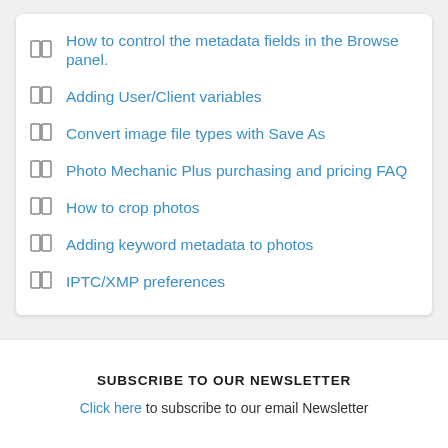How to control the metadata fields in the Browse panel.
Adding User/Client variables
Convert image file types with Save As
Photo Mechanic Plus purchasing and pricing FAQ
How to crop photos
Adding keyword metadata to photos
IPTC/XMP preferences
SUBSCRIBE TO OUR NEWSLETTER
Click here to subscribe to our email Newsletter